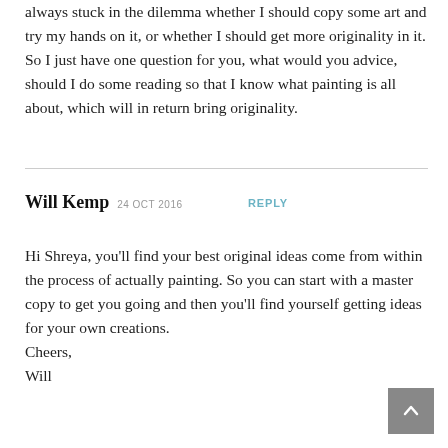always stuck in the dilemma whether I should copy some art and try my hands on it, or whether I should get more originality in it. So I just have one question for you, what would you advice, should I do some reading so that I know what painting is all about, which will in return bring originality.
Will Kemp 24 OCT 2016 REPLY
Hi Shreya, you'll find your best original ideas come from within the process of actually painting. So you can start with a master copy to get you going and then you'll find yourself getting ideas for your own creations.
Cheers,
Will